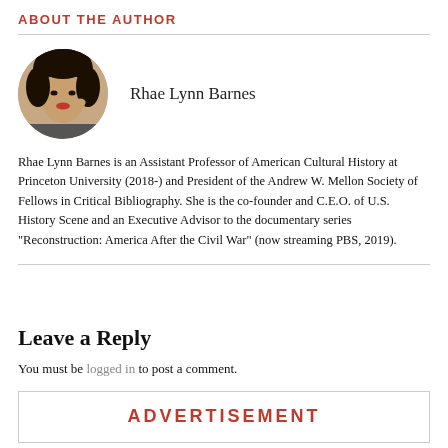ABOUT THE AUTHOR
[Figure (photo): Circular headshot photo of Rhae Lynn Barnes, a woman with dark hair, red lips, smiling]
Rhae Lynn Barnes
Rhae Lynn Barnes is an Assistant Professor of American Cultural History at Princeton University (2018-) and President of the Andrew W. Mellon Society of Fellows in Critical Bibliography. She is the co-founder and C.E.O. of U.S. History Scene and an Executive Advisor to the documentary series "Reconstruction: America After the Civil War" (now streaming PBS, 2019).
Leave a Reply
You must be logged in to post a comment.
ADVERTISEMENT